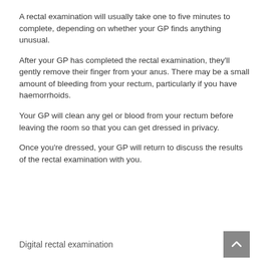A rectal examination will usually take one to five minutes to complete, depending on whether your GP finds anything unusual.
After your GP has completed the rectal examination, they'll gently remove their finger from your anus. There may be a small amount of bleeding from your rectum, particularly if you have haemorrhoids.
Your GP will clean any gel or blood from your rectum before leaving the room so that you can get dressed in privacy.
Once you're dressed, your GP will return to discuss the results of the rectal examination with you.
Digital rectal examination